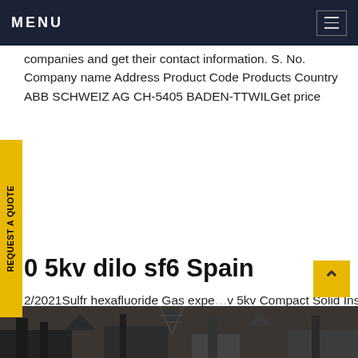MENU
companies and get their contact information. S. No. Company name Address Product Code Products Country ABB SCHWEIZ AG CH-5405 BADEN-TTWILGet price
0 5kv dilo sf6 Spain
2/2021Sulfr hexafluoride Gas expe… 5kv Compact Solid Insulated Metro Subway Electrical Switchgear _ h2analysis 22kv 24kv 27.5kv npact Solid Insulated Metro Subway Electrical Switchgear Ac metal closed type shift switch cabinet is a three-phase ac 50HZGet price
[Figure (photo): Bottom strip showing industrial equipment or infrastructure, partially visible]